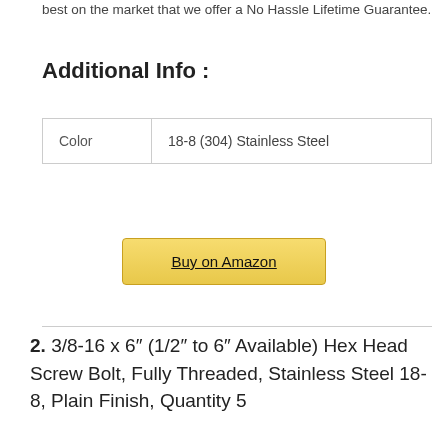best on the market that we offer a No Hassle Lifetime Guarantee.
Additional Info :
| Color | 18-8 (304) Stainless Steel |
| --- | --- |
| Color | 18-8 (304) Stainless Steel |
Buy on Amazon
2. 3/8-16 x 6″ (1/2″ to 6″ Available) Hex Head Screw Bolt, Fully Threaded, Stainless Steel 18-8, Plain Finish, Quantity 5